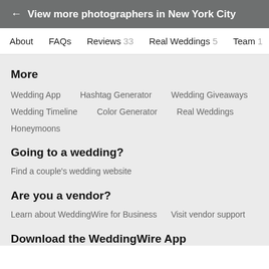← View more photographers in New York City
About   FAQs   Reviews 33   Real Weddings 5   Team 1
More
Wedding App
Hashtag Generator
Wedding Giveaways
Wedding Timeline
Color Generator
Real Weddings
Honeymoons
Going to a wedding?
Find a couple's wedding website
Are you a vendor?
Learn about WeddingWire for Business   Visit vendor support
Download the WeddingWire App